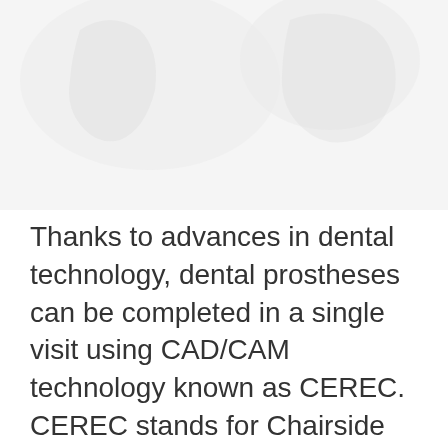[Figure (photo): Faded/watermark style image of dental-related imagery in the upper portion of the page, appearing very light against white background]
Thanks to advances in dental technology, dental prostheses can be completed in a single visit using CAD/CAM technology known as CEREC.  CEREC stands for Chairside Economical Restoration of Esthetic Ceramics and can be used to simplify dental procedures like dental crowns, dental implants, and